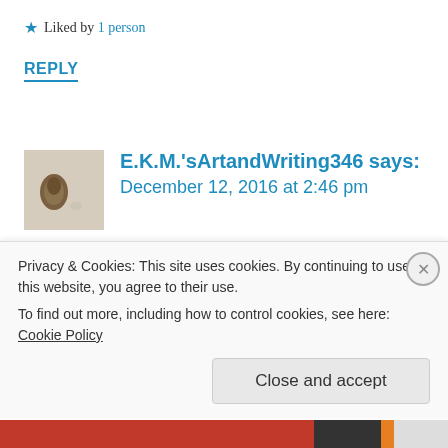★ Liked by 1 person
REPLY
[Figure (photo): Small avatar thumbnail showing a pine cone against a light background]
E.K.M.'sArtandWriting346 says:
December 12, 2016 at 2:46 pm
Of course! And personally, I think liquid eyeliner comes off eaiser than regular eyeliner. What about you?
Privacy & Cookies: This site uses cookies. By continuing to use this website, you agree to their use.
To find out more, including how to control cookies, see here: Cookie Policy
Close and accept